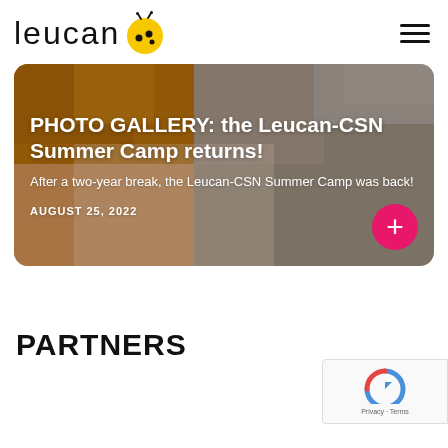leucan [logo]
[Figure (photo): Photo gallery card with blurred background image of people in orange shirts at a summer camp event, with white text overlay showing headline, description, date, and a pink plus button]
PHOTO GALLERY: the Leucan-CSN Summer Camp returns!
After a two-year break, the Leucan-CSN Summer Camp was back!
AUGUST 25, 2022
PARTNERS